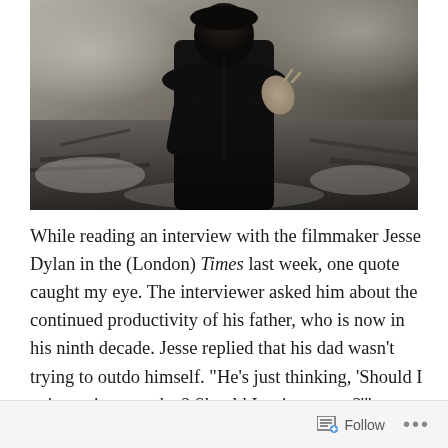[Figure (photo): Black and white photo of a person in dark clothing standing in front of a snowy, rubble-strewn background]
While reading an interview with the filmmaker Jesse Dylan in the (London) Times last week, one quote caught my eye. The interviewer asked him about the continued productivity of his father, who is now in his ninth decade. Jesse replied that his dad wasn't trying to outdo himself. "He's just thinking, 'Should I paint a picture today? Should I write a song?'"